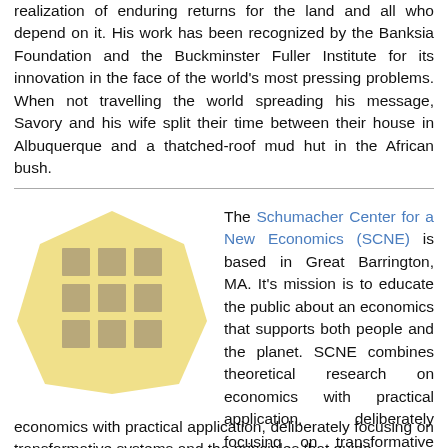realization of enduring returns for the land and all who depend on it. His work has been recognized by the Banksia Foundation and the Buckminster Fuller Institute for its innovation in the face of the world's most pressing problems. When not travelling the world spreading his message, Savory and his wife split their time between their house in Albuquerque and a thatched-roof mud hut in the African bush.
[Figure (logo): Schumacher Center for a New Economics logo: a yellow heptagon shape containing a 3x3 grid of tan/beige squares]
The Schumacher Center for a New Economics (SCNE) is based in Great Barrington, MA. It's mission is to educate the public about an economics that supports both people and the planet. SCNE combines theoretical research on economics with practical application, deliberately focusing on transformative systems and the principles that guide